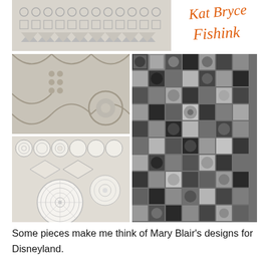[Figure (photo): Top strip showing geometric pattern artwork with triangles and small shapes in gray tones]
[Figure (illustration): Handwritten orange script logo reading 'Kat Bryce' above 'Fishink']
[Figure (photo): Beige/cream three-dimensional relief ceramic tiles with circular and arc motifs]
[Figure (photo): Black and white photograph of a large mosaic artwork with circles, diamonds and geometric tile patterns]
[Figure (photo): Black and white photograph of ceramic plate collection with intricate circular patterns and mandalas]
Some pieces make me think of Mary Blair’s designs for Disneyland.